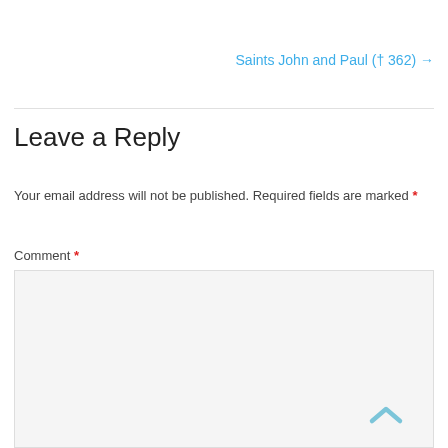Saints John and Paul († 362) →
Leave a Reply
Your email address will not be published. Required fields are marked *
Comment *